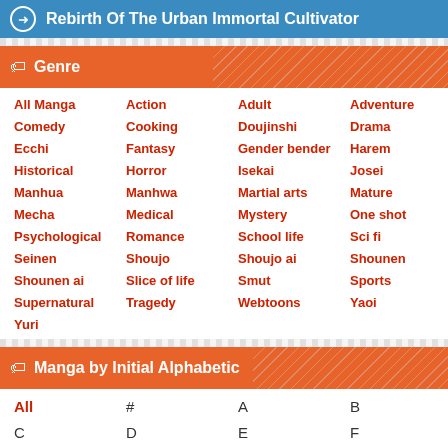Rebirth Of The Urban Immortal Cultivator
Genre
All Manga
Action
Adult
Adventure
Comedy
Cooking
Doujinshi
Drama
Ecchi
Fantasy
Gender bender
Harem
Historical
Horror
Isekai
Josei
Manhua
Manhwa
Martial arts
Mature
Mecha
Medical
Mystery
One shot
Psychological
Romance
School life
Sci fi
Seinen
Shoujo
Shoujo ai
Shounen
Shounen ai
Slice of life
Smut
Sports
Supernatural
Tragedy
Webtoons
Yaoi
Yuri
Manga by Initial Alphabetic
All
#
A
B
C
D
E
F
G
H
I
J
K
L
M
N
O
P
Q
R